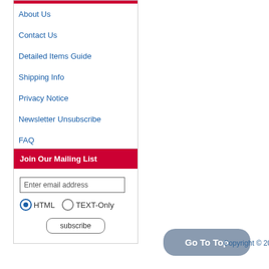About Us
Contact Us
Detailed Items Guide
Shipping Info
Privacy Notice
Newsletter Unsubscribe
FAQ
Join Our Mailing List
Enter email address
HTML TEXT-Only
subscribe
Go To Top
Copyright © 202